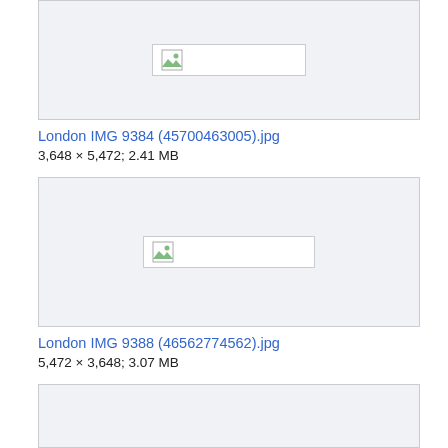[Figure (other): Broken image placeholder for London IMG 9384 (45700463005).jpg, partially visible at top]
London IMG 9384 (45700463005).jpg
3,648 × 5,472; 2.41 MB
[Figure (other): Broken image placeholder for London IMG 9388 (46562774562).jpg]
London IMG 9388 (46562774562).jpg
5,472 × 3,648; 3.07 MB
[Figure (other): Third image box, partially visible at bottom of page]